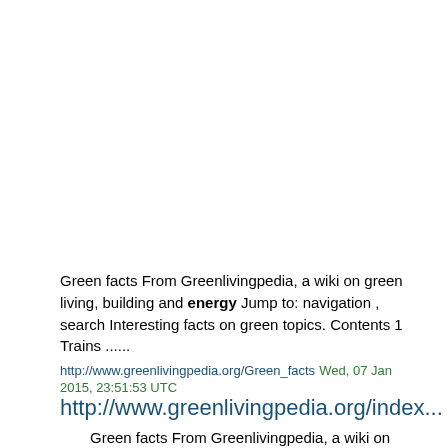Green facts From Greenlivingpedia, a wiki on green living, building and energy Jump to: navigation , search Interesting facts on green topics. Contents 1 Trains ......
http://www.greenlivingpedia.org/Green_facts  Wed, 07 Jan 2015, 23:51:53 UTC
http://www.greenlivingpedia.org/index...
Green facts From Greenlivingpedia, a wiki on green living, building and energy Revision as of 23:51, 7 January 2015 by Peter Campbell ( Talk |